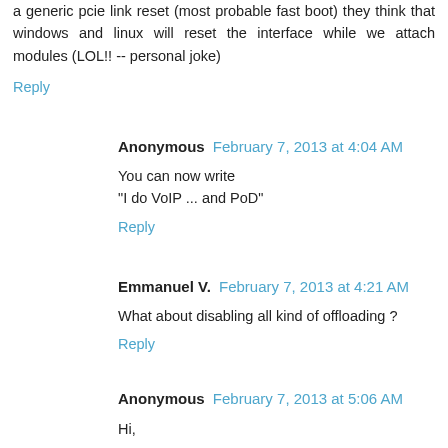a generic pcie link reset (most probable fast boot) they think that windows and linux will reset the interface while we attach modules (LOL!! -- personal joke)
Reply
Anonymous  February 7, 2013 at 4:04 AM
You can now write
"I do VoIP ... and PoD"
Reply
Emmanuel V.  February 7, 2013 at 4:21 AM
What about disabling all kind of offloading ?
Reply
Anonymous  February 7, 2013 at 5:06 AM
Hi,